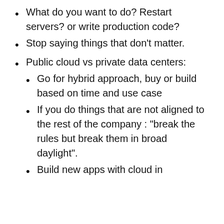What do you want to do? Restart servers? or write production code?
Stop saying things that don't matter.
Public cloud vs private data centers:
Go for hybrid approach, buy or build based on time and use case
If you do things that are not aligned to the rest of the company : “break the rules but break them in broad daylight”.
Build new apps with cloud in